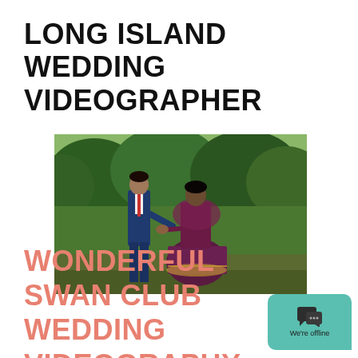LONG ISLAND WEDDING VIDEOGRAPHER
[Figure (photo): A couple standing in a garden. The groom wears a navy blue suit and the bride wears a dark purple/maroon traditional Indian lehenga dress. They are holding hands outdoors with green foliage in the background.]
WONDERFUL SWAN CLUB WEDDING VIDEOGRAPHY